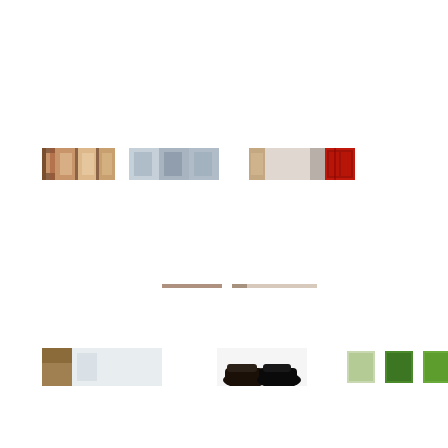[Figure (photo): Top horizontal strip of fragmented photo thumbnails showing interior/exterior scenes with warm tones, windows, and architectural elements. Three groups of image fragments arranged horizontally.]
[Figure (photo): Middle thin horizontal strip with a faint dark line element, appears to be a very thin sliver of an image.]
[Figure (photo): Bottom horizontal strip of fragmented photo thumbnails showing outdoor/street scenes including buildings, figures/shoes, and foliage. Three groups of image fragments arranged horizontally.]